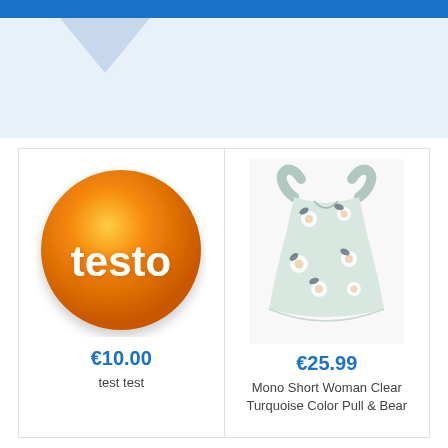[Figure (logo): Testo orange sphere logo with white text 'testo']
€10.00
test test
[Figure (photo): Mono Short Woman Clear Turquoise Color floral romper/playsuit product photo on white background]
€25.99
Mono Short Woman Clear Turquoise Color Pull & Bear